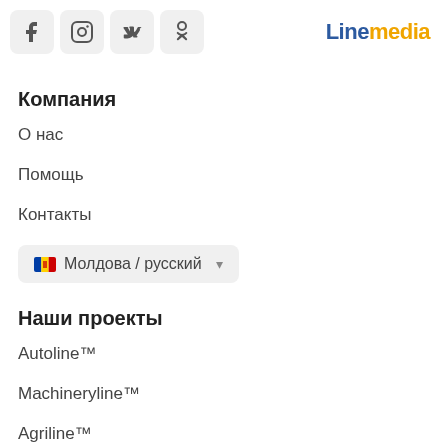[Figure (logo): Social media icons: Facebook, Instagram, VK, Odnoklassniki; and Linemedia logo top right]
Компания
О нас
Помощь
Контакты
Молдова / русский
Наши проекты
Autoline™
Machineryline™
Agriline™